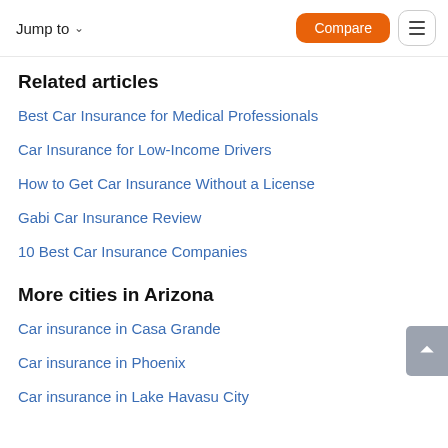Jump to   Compare
Related articles
Best Car Insurance for Medical Professionals
Car Insurance for Low-Income Drivers
How to Get Car Insurance Without a License
Gabi Car Insurance Review
10 Best Car Insurance Companies
More cities in Arizona
Car insurance in Casa Grande
Car insurance in Phoenix
Car insurance in Lake Havasu City